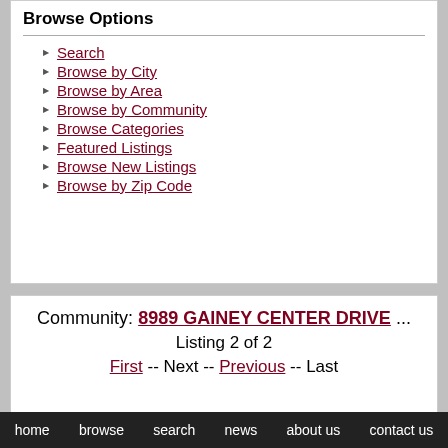Browse Options
Search
Browse by City
Browse by Area
Browse by Community
Browse Categories
Featured Listings
Browse New Listings
Browse by Zip Code
Community: 8989 GAINEY CENTER DRIVE ... Listing 2 of 2 First -- Next -- Previous -- Last
home  browse  search  news  about us  contact us